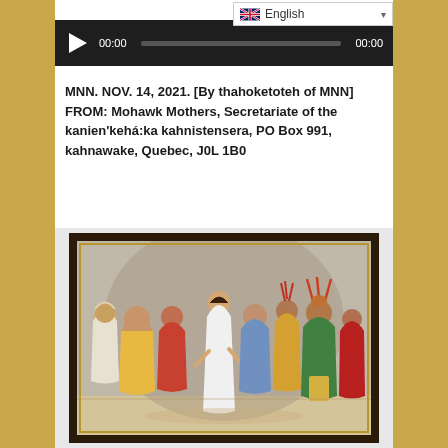[Figure (screenshot): Audio player bar with play button, 00:00 start time, progress bar, and 00:00 end time on dark background. Language selector showing English with UK flag in top right.]
MNN. NOV. 14, 2021. [By thahoketoteh of MNN] FROM: Mohawk Mothers, Secretariate of the kanien'kehá:ka kahnistensera, PO Box 991, kahnawake, Quebec, J0L 1B0
[Figure (illustration): A framed historical illustration showing a scene of Indigenous people. A woman in white stands centrally, surrounded by seated and standing figures in traditional dress including colorful garments and headdresses. The scene appears to be a council or gathering inside a longhouse.]